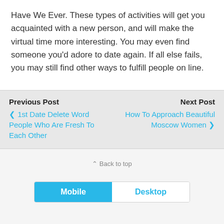Have We Ever. These types of activities will get you acquainted with a new person, and will make the virtual time more interesting. You may even find someone you'd adore to date again. If all else fails, you may still find other ways to fulfill people on line.
Previous Post
‹ 1st Date Delete Word People Who Are Fresh To Each Other
Next Post
How To Approach Beautiful Moscow Women ›
⌃ Back to top
Mobile | Desktop